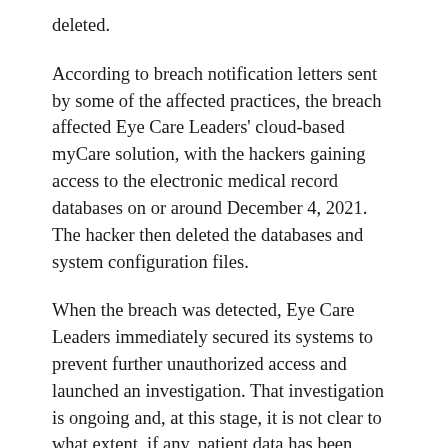deleted.
According to breach notification letters sent by some of the affected practices, the breach affected Eye Care Leaders' cloud-based myCare solution, with the hackers gaining access to the electronic medical record databases on or around December 4, 2021. The hacker then deleted the databases and system configuration files.
When the breach was detected, Eye Care Leaders immediately secured its systems to prevent further unauthorized access and launched an investigation. That investigation is ongoing and, at this stage, it is not clear to what extent, if any, patient data has been compromised; however, it is possible that patient information was viewed and/or